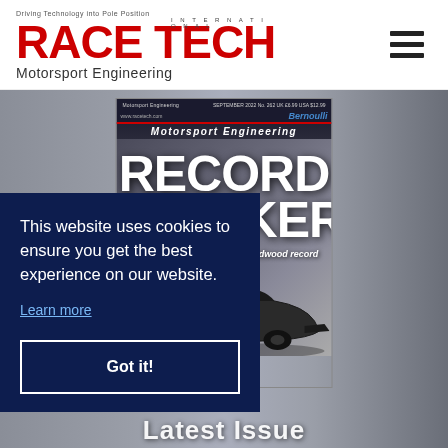[Figure (logo): Race Tech International Motorsport Engineering logo with red bold text and tagline 'Driving Technology into Pole Position']
[Figure (screenshot): Magazine cover showing 'RECORD BREAKER' headline with subtitle 'The fan car that smashed Goodwood record', race car image, September 2022 issue]
[Figure (photo): Background photo of a racing car blurred in motion]
This website uses cookies to ensure you get the best experience on our website.
Learn more
Got it!
Latest Issue